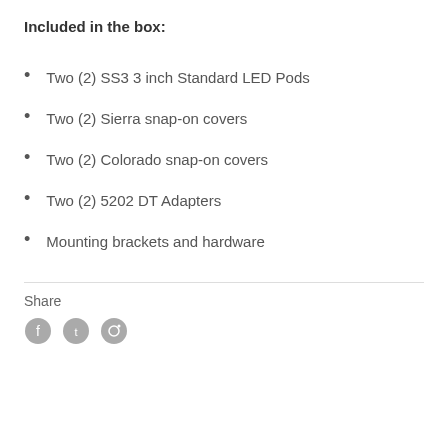Included in the box:
Two (2) SS3 3 inch Standard LED Pods
Two (2) Sierra snap-on covers
Two (2) Colorado snap-on covers
Two (2) 5202 DT Adapters
Mounting brackets and hardware
Share